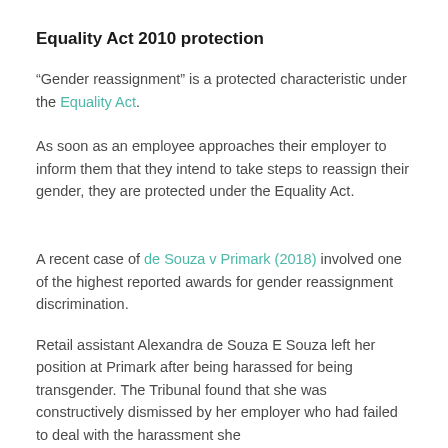Equality Act 2010 protection
“Gender reassignment” is a protected characteristic under the Equality Act.
As soon as an employee approaches their employer to inform them that they intend to take steps to reassign their gender, they are protected under the Equality Act.
A recent case of de Souza v Primark (2018) involved one of the highest reported awards for gender reassignment discrimination.
Retail assistant Alexandra de Souza E Souza left her position at Primark after being harassed for being transgender. The Tribunal found that she was constructively dismissed by her employer who had failed to deal with the harassment she...